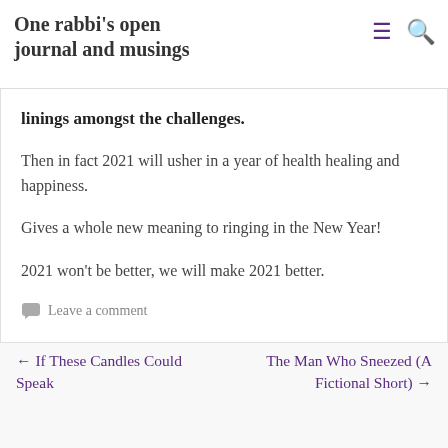One rabbi's open journal and musings
Acknowledging that we are but pawns in the Divine plan, and notwithstanding the hardship and suffering of 2020, recognizing that there were many blessings and silver linings amongst the challenges.
linings amongst the challenges.
Then in fact 2021 will usher in a year of health healing and happiness.
Gives a whole new meaning to ringing in the New Year!
2021 won't be better, we will make 2021 better.
Leave a comment
← If These Candles Could Speak     The Man Who Sneezed (A Fictional Short) →